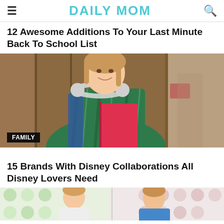DAILY MOM
12 Awesome Additions To Your Last Minute Back To School List
[Figure (photo): Young woman smiling, wearing a green plaid shirt, holding a red binder/notebook and wearing white headphones around her neck, standing in front of wooden wall background. A 'FAMILY' label badge is in the bottom-left corner.]
15 Brands With Disney Collaborations All Disney Lovers Need
[Figure (photo): Partial image of two young children, appearing to be boys, one in a blue shirt, in front of a colorful polka dot background. Image is cropped at the bottom of the page.]